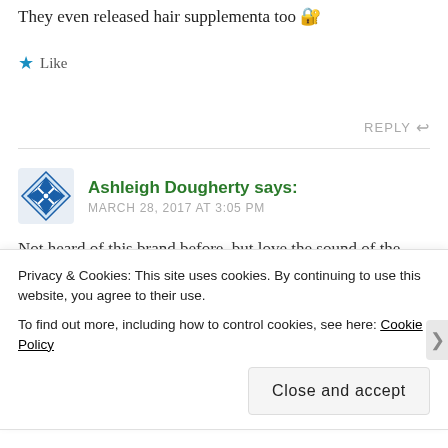They even released hair supplementa too 🔐
★ Like
REPLY ↩
Ashleigh Dougherty says:
MARCH 28, 2017 AT 3:05 PM
Not heard of this brand before, but love the sound of the texturising spray. Sounds really good for my
Privacy & Cookies: This site uses cookies. By continuing to use this website, you agree to their use.
To find out more, including how to control cookies, see here: Cookie Policy